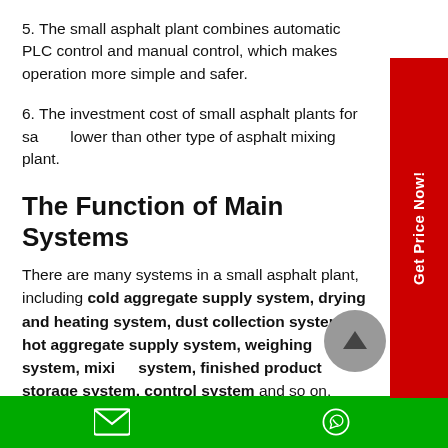5. The small asphalt plant combines automatic PLC control and manual control, which makes operation more simple and safer.
6. The investment cost of small asphalt plants for sa... lower than other type of asphalt mixing plant.
The Function of Main Systems
There are many systems in a small asphalt plant, including cold aggregate supply system, drying and heating system, dust collection system, hot aggregate supply system, weighing system, mixing system, finished product storage system, control system and so on. Each system is relatively independent.
Email | WhatsApp